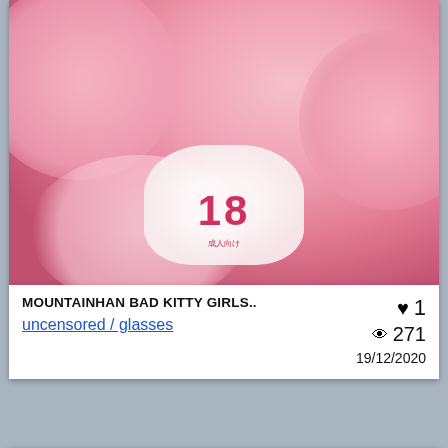[Figure (illustration): Anime-style illustration showing a character with pink fluffy elements and a white garment, with the number 18 displayed prominently in pink]
MOUNTAINHAN BAD KITTY GIRLS..
uncensored / glasses
♥ 1
👁 271
19/12/2020
[Figure (illustration): Digital illustration of an anthropomorphic tiger character (Tigress from Kung Fu Panda) in a martial arts pose, wearing a red outfit with gold leaf design, against a green background]